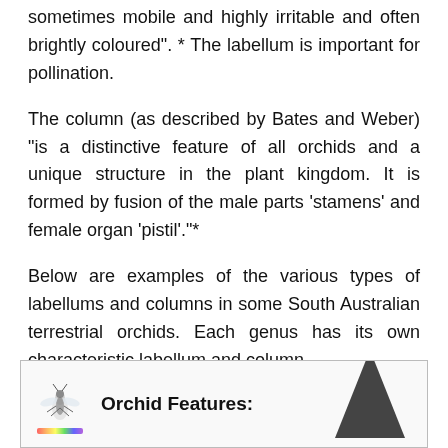sometimes mobile and highly irritable and often brightly coloured". * The labellum is important for pollination.
The column (as described by Bates and Weber) “is a distinctive feature of all orchids and a unique structure in the plant kingdom. It is formed by fusion of the male parts ‘stamens’ and female organ ‘pistil’.”*
Below are examples of the various types of labellums and columns in some South Australian terrestrial orchids. Each genus has its own characteristic labellum and column.
[Figure (illustration): A bordered box showing an orchid illustration (small orchid insect drawing on left) and the heading 'Orchid Features:' with a dark triangle shape on the right side, partially visible at the bottom of the page.]